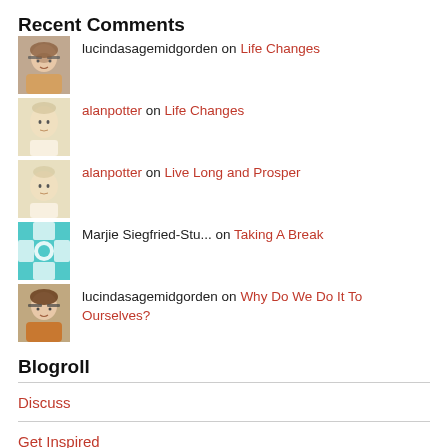Recent Comments
lucindasagemidgorden on Life Changes
alanpotter on Life Changes
alanpotter on Live Long and Prosper
Marjie Siegfried-Stu... on Taking A Break
lucindasagemidgorden on Why Do We Do It To Ourselves?
Blogroll
Discuss
Get Inspired